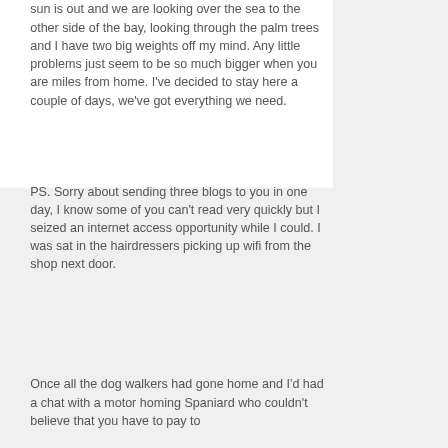sun is out and we are looking over the sea to the other side of the bay, looking through the palm trees and I have two big weights off my mind. Any little problems just seem to be so much bigger when you are miles from home. I've decided to stay here a couple of days, we've got everything we need.
PS. Sorry about sending three blogs to you in one day, I know some of you can't read very quickly but I seized an internet access opportunity while I could. I was sat in the hairdressers picking up wifi from the shop next door.
Once all the dog walkers had gone home and I'd had a chat with a motor homing Spaniard who couldn't believe that you have to pay to